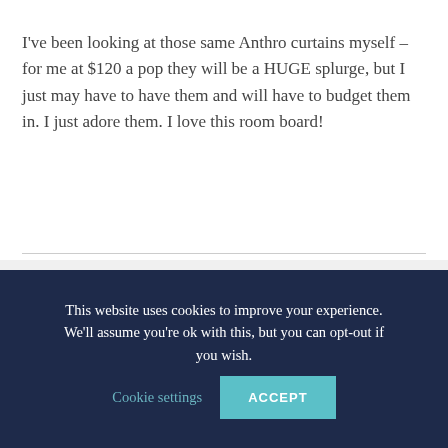I've been looking at those same Anthro curtains myself – for me at $120 a pop they will be a HUGE splurge, but I just may have to have them and will have to budget them in. I just adore them. I love this room board!
This website uses cookies to improve your experience. We'll assume you're ok with this, but you can opt-out if you wish.
Cookie settings
ACCEPT